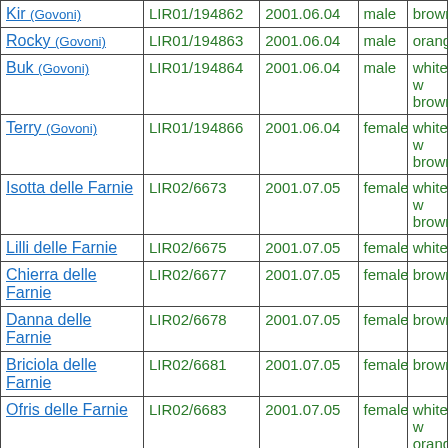| Name | LIR Code | Date | Sex | Color |
| --- | --- | --- | --- | --- |
| Kir (Govoni) | LIR01/194862 | 2001.06.04 | male | brown |
| Rocky (Govoni) | LIR01/194863 | 2001.06.04 | male | orange |
| Buk (Govoni) | LIR01/194864 | 2001.06.04 | male | white w brown |
| Terry (Govoni) | LIR01/194866 | 2001.06.04 | female | white w brown |
| Isotta delle Farnie | LIR02/6673 | 2001.07.05 | female | white w brown |
| Lilli delle Farnie | LIR02/6675 | 2001.07.05 | female | white |
| Chierra delle Farnie | LIR02/6677 | 2001.07.05 | female | brown |
| Danna delle Farnie | LIR02/6678 | 2001.07.05 | female | brownro |
| Briciola delle Farnie | LIR02/6681 | 2001.07.05 | female | brown |
| Ofris delle Farnie | LIR02/6683 | 2001.07.05 | female | white w orange |
| Dadly delle Farnie | LIR02/6684 | 2001.07.05 | female | brown |
| Dasty delle Farnie | LIR02/6685 | 2001.07.05 | male | white w brown |
| Dioro delle Farnie | LIR02/6686 | 2001.07.05 | male | white w brown |